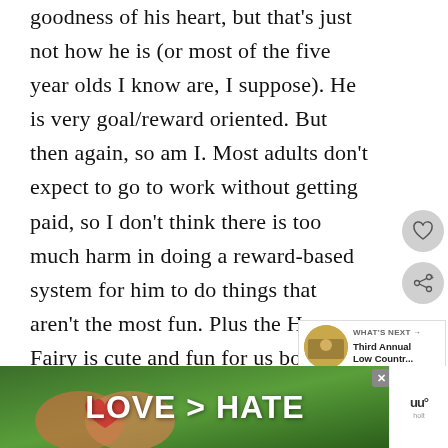goodness of his heart, but that's just not how he is (or most of the five year olds I know are, I suppose). He is very goal/reward oriented. But then again, so am I. Most adults don't expect to go to work without getting paid, so I don't think there is too much harm in doing a reward-based system for him to do things that aren't the most fun. Plus the House Fairy is cute and fun for us both. I think when he's ol teenager level – and can understand more of the reasoning behind being a
[Figure (screenshot): UI sidebar with heart/favorite icon button and share icon button (circular grey buttons)]
[Figure (infographic): WHAT'S NEXT widget showing a circular thumbnail image and text 'Third Annual Low Countr...']
[Figure (photo): Advertisement banner showing hands forming a heart shape with text 'LOVE > HATE', with a close (X) button and a right-side widget icon]